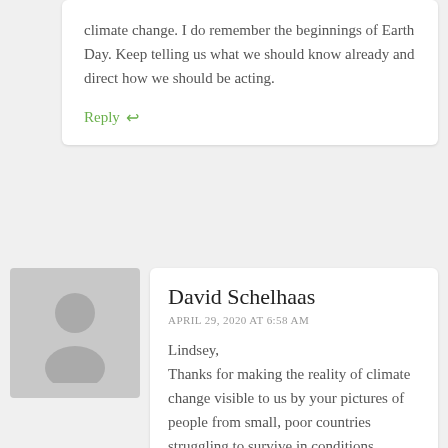climate change. I do remember the beginnings of Earth Day. Keep telling us what we should know already and direct how we should be acting.
Reply ↩
[Figure (illustration): Gray placeholder avatar silhouette for David Schelhaas]
David Schelhaas
APRIL 29, 2020 AT 6:58 AM
Lindsey,
Thanks for making the reality of climate change visible to us by your pictures of people from small, poor countries struggling to survive in conditions created by our excess.